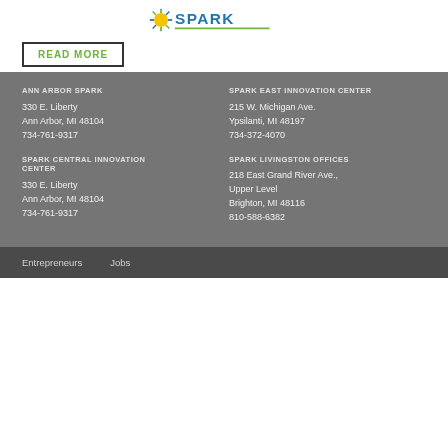[Figure (logo): Ann Arbor SPARK logo with blue text and star/spark graphic element]
READ MORE
ANN ARBOR SPARK
330 E. Liberty
Ann Arbor, MI 48104
734-761-9317
SPARK EAST INNOVATION CENTER
215 W. Michigan Ave.
Ypsilanti, MI 48197
734-372-4070
SPARK CENTRAL INNOVATION CENTER
330 E. Liberty
Ann Arbor, MI 48104
734-761-9317
SPARK LIVINGSTON OFFICES
218 East Grand River Ave., Upper Level
Brighton, MI 48116
810-588-6382
Entrepreneurs   Jobs